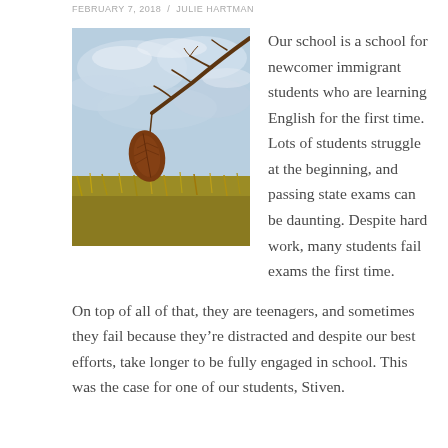FEBRUARY 7, 2018 / JULIE HARTMAN
[Figure (illustration): Watercolor painting of a brown leaf hanging from a bare branch, with a blue cloudy sky background and golden grass below.]
Our school is a school for newcomer immigrant students who are learning English for the first time. Lots of students struggle at the beginning, and passing state exams can be daunting. Despite hard work, many students fail exams the first time.
On top of all of that, they are teenagers, and sometimes they fail because they’re distracted and despite our best efforts, take longer to be fully engaged in school. This was the case for one of our students, Stiven.